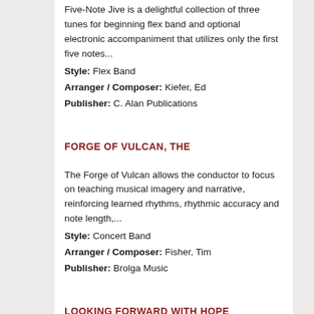Five-Note Jive is a delightful collection of three tunes for beginning flex band and optional electronic accompaniment that utilizes only the first five notes...
Style: Flex Band
Arranger / Composer: Kiefer, Ed
Publisher: C. Alan Publications
FORGE OF VULCAN, THE
The Forge of Vulcan allows the conductor to focus on teaching musical imagery and narrative, reinforcing learned rhythms, rhythmic accuracy and note length,...
Style: Concert Band
Arranger / Composer: Fisher, Tim
Publisher: Brolga Music
LOOKING FORWARD WITH HOPE
From March 2020 until April 2021, all wind and